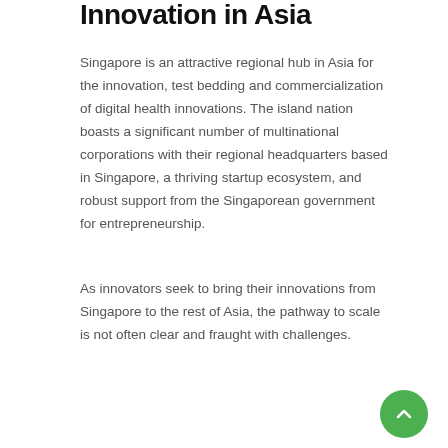Innovation in Asia
Singapore is an attractive regional hub in Asia for the innovation, test bedding and commercialization of digital health innovations. The island nation boasts a significant number of multinational corporations with their regional headquarters based in Singapore, a thriving startup ecosystem, and robust support from the Singaporean government for entrepreneurship.
As innovators seek to bring their innovations from Singapore to the rest of Asia, the pathway to scale is not often clear and fraught with challenges.